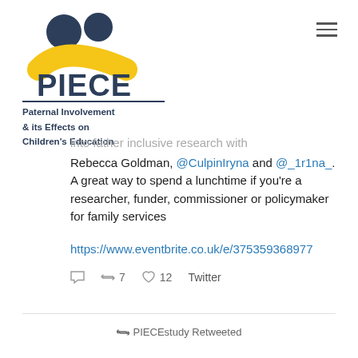[Figure (logo): PIECE logo with two figures and yellow arc, with text 'PIECE' in dark navy]
Paternal Involvement & its Effects on Children's Education
into father inclusive research with Rebecca Goldman, @CulpinIryna and @_1r1na_. A great way to spend a lunchtime if you're a researcher, funder, commissioner or policymaker for family services
https://www.eventbrite.co.uk/e/375359368977
7 retweets 12 likes Twitter
PIECEstudy Retweeted